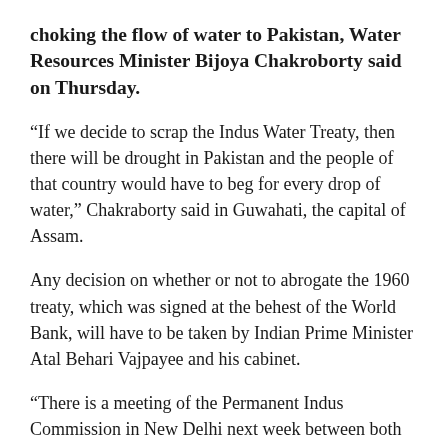choking the flow of water to Pakistan, Water Resources Minister Bijoya Chakroborty said on Thursday.
“If we decide to scrap the Indus Water Treaty, then there will be drought in Pakistan and the people of that country would have to beg for every drop of water,” Chakraborty said in Guwahati, the capital of Assam.
Any decision on whether or not to abrogate the 1960 treaty, which was signed at the behest of the World Bank, will have to be taken by Indian Prime Minister Atal Behari Vajpayee and his cabinet.
“There is a meeting of the Permanent Indus Commission in New Delhi next week between both countries, but we are yet to decide whether to go ahead with the meeting or cancel it,” Chakroborty said.